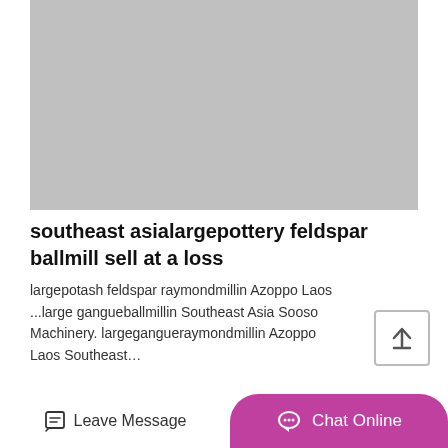[Figure (photo): Gray placeholder image area at the top of the page]
southeast asialargepottery feldspar ballmill sell at a loss
largepotash feldspar raymondmillin Azoppo Laos ...large gangueballmillin Southeast Asia Sooso Machinery. largegangueraymondmillin Azoppo Laos Southeast…
MORE DETAILS
Leave Message
Chat Online